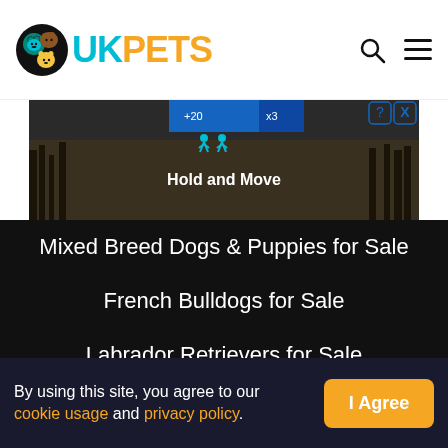UKPETS
[Figure (screenshot): Advertisement banner showing 'Hold and Move' game/app with people silhouettes on a dark background with trees]
Mixed Breed Dogs & Puppies for Sale
French Bulldogs for Sale
Labrador Retrievers for Sale
Cockapoos for Sale
Cocker Spaniels for Sale
American Bullies for Sale
By using this site, you agree to our cookie usage and privacy policy.